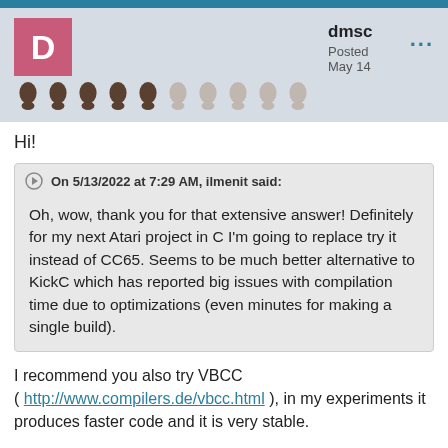dmsc
Posted May 14
Hi!
On 5/13/2022 at 7:29 AM, ilmenit said:
Oh, wow, thank you for that extensive answer! Definitely for my next Atari project in C I'm going to replace try it instead of CC65. Seems to be much better alternative to KickC which has reported big issues with compilation time due to optimizations (even minutes for making a single build).
I recommend you also try VBCC ( http://www.compilers.de/vbcc.html ), in my experiments it produces faster code and it is very stable.